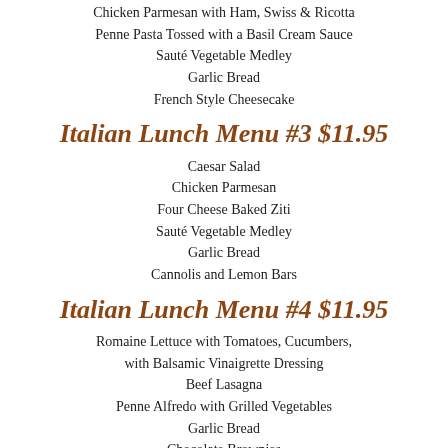Chicken Parmesan with Ham, Swiss & Ricotta
Penne Pasta Tossed with a Basil Cream Sauce
Sauté Vegetable Medley
Garlic Bread
French Style Cheesecake
Italian Lunch Menu #3 $11.95
Caesar Salad
Chicken Parmesan
Four Cheese Baked Ziti
Sauté Vegetable Medley
Garlic Bread
Cannolis and Lemon Bars
Italian Lunch Menu #4 $11.95
Romaine Lettuce with Tomatoes, Cucumbers, with Balsamic Vinaigrette Dressing
Beef Lasagna
Penne Alfredo with Grilled Vegetables
Garlic Bread
Chocolate Brownies